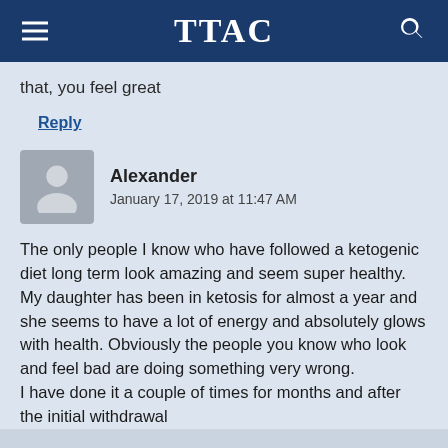TTAC
that, you feel great
Reply
Alexander
January 17, 2019 at 11:47 AM
The only people I know who have followed a ketogenic diet long term look amazing and seem super healthy. My daughter has been in ketosis for almost a year and she seems to have a lot of energy and absolutely glows with health. Obviously the people you know who look and feel bad are doing something very wrong.
I have done it a couple of times for months and after the initial withdrawal